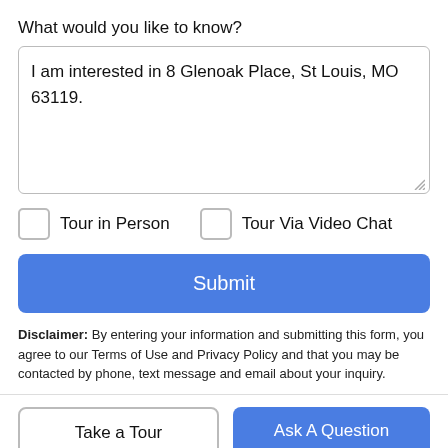What would you like to know?
I am interested in 8 Glenoak Place, St Louis, MO 63119.
Tour in Person
Tour Via Video Chat
Submit
Disclaimer: By entering your information and submitting this form, you agree to our Terms of Use and Privacy Policy and that you may be contacted by phone, text message and email about your inquiry.
Take a Tour
Ask A Question